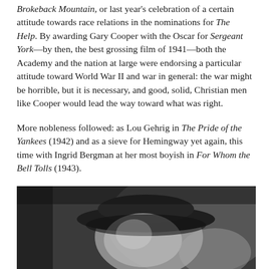Brokeback Mountain, or last year's celebration of a certain attitude towards race relations in the nominations for The Help. By awarding Gary Cooper with the Oscar for Sergeant York—by then, the best grossing film of 1941—both the Academy and the nation at large were endorsing a particular attitude toward World War II and war in general: the war might be horrible, but it is necessary, and good, solid, Christian men like Cooper would lead the way toward what was right.
More nobleness followed: as Lou Gehrig in The Pride of the Yankees (1942) and as a sieve for Hemingway yet again, this time with Ingrid Bergman at her most boyish in For Whom the Bell Tolls (1943).
[Figure (photo): Black and white photograph showing a person wearing a hat, close-up portrait shot with another figure partially visible]